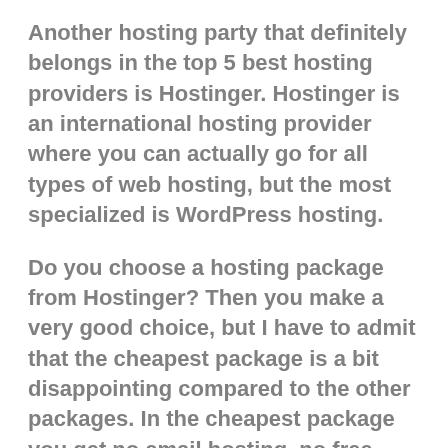Another hosting party that definitely belongs in the top 5 best hosting providers is Hostinger. Hostinger is an international hosting provider where you can actually go for all types of web hosting, but the most specialized is WordPress hosting.
Do you choose a hosting package from Hostinger? Then you make a very good choice, but I have to admit that the cheapest package is a bit disappointing compared to the other packages. In the cheapest package you get no email hosting, no free domain and very limited bandwidth. If you opt for the larger package, which is only € 1.00 per month more expensive, you will receive these extras.
In terms of price, Hostinger does a lot better than the others on this list. You can get managed WordPress hosting from Hostinger from €1.99 per month . However, this price only applies during the first contract period. You pay more after the